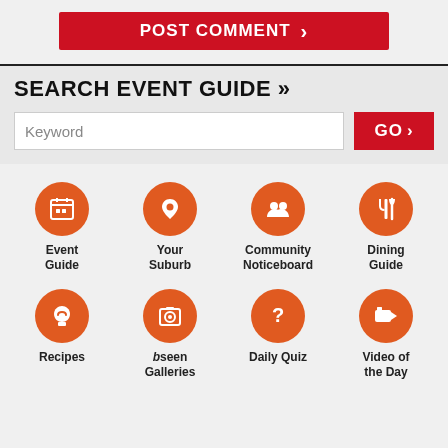[Figure (infographic): Red button with white bold text POST COMMENT and a right arrow chevron]
SEARCH EVENT GUIDE »
[Figure (screenshot): Search bar with placeholder text Keyword and a red GO > button]
[Figure (infographic): Grid of 8 orange circular icons with labels: Event Guide, Your Suburb, Community Noticeboard, Dining Guide, Recipes, bseen Galleries, Daily Quiz, Video of the Day]